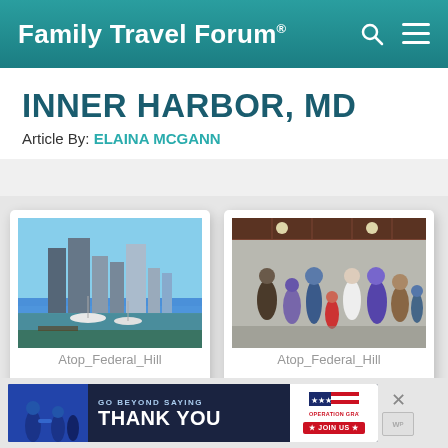Family Travel Forum®
INNER HARBOR, MD
Article By: ELAINA MCGANN
[Figure (photo): Skyline view of Baltimore Inner Harbor with marina and buildings, taken from Federal Hill]
Atop_Federal_Hill
[Figure (photo): Indoor crowd scene with people milling about in a building at Federal Hill]
Atop_Federal_Hill
[Figure (other): Advertisement banner: GO BEYOND SAYING THANK YOU — Operation Gratitude JOIN US]